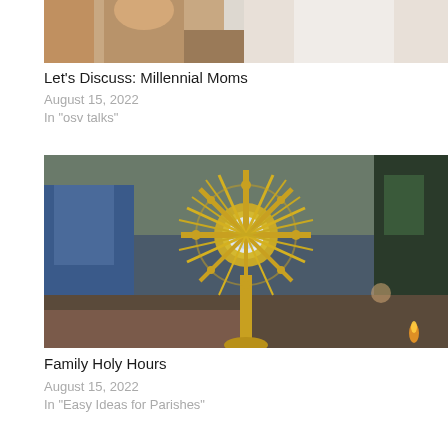[Figure (photo): Cropped photo of two figures, one in brown/tan clothing and one in white, partial view at top of card]
Let's Discuss: Millennial Moms
August 15, 2022
In "osv talks"
[Figure (photo): Photo of a golden monstrance (sunburst-shaped religious vessel) held up outdoors with people visible in the blurred background]
Family Holy Hours
August 15, 2022
In "Easy Ideas for Parishes"